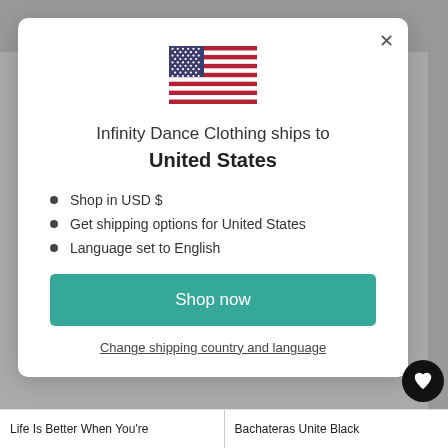[Figure (illustration): US flag SVG inside modal dialog]
Infinity Dance Clothing ships to United States
Shop in USD $
Get shipping options for United States
Language set to English
Shop now
Change shipping country and language
Life Is Better When You're | Bachateras Unite Black